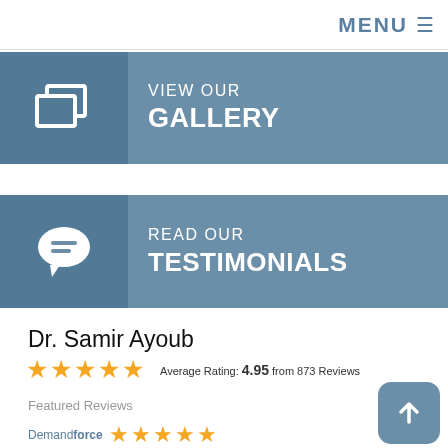MENU ☰
[Figure (illustration): Blue banner button with gallery icon and text VIEW OUR GALLERY]
[Figure (illustration): Blue banner button with chat bubble icon and text READ OUR TESTIMONIALS]
Dr. Samir Ayoub
★★★★★  Average Rating: 4.95 from 873 Reviews
Featured Reviews
[Figure (illustration): Demandforce logo with 5 gold stars rating]
[Figure (illustration): Blue rounded square scroll-up button with upward arrow icon]